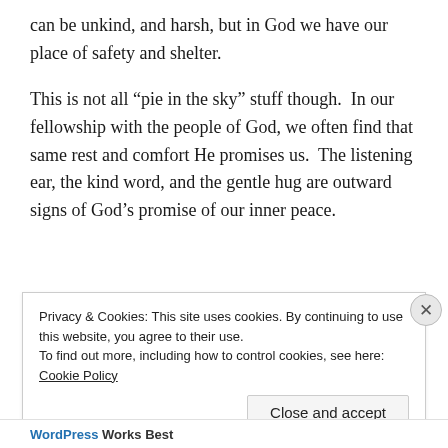can be unkind, and harsh, but in God we have our place of safety and shelter.
This is not all “pie in the sky” stuff though.  In our fellowship with the people of God, we often find that same rest and comfort He promises us.  The listening ear, the kind word, and the gentle hug are outward signs of God’s promise of our inner peace.
[Figure (other): Advertisement banner with gradient bar and REPORT THIS AD label]
Privacy & Cookies: This site uses cookies. By continuing to use this website, you agree to their use.
To find out more, including how to control cookies, see here: Cookie Policy
Close and accept
WordPress Works Best